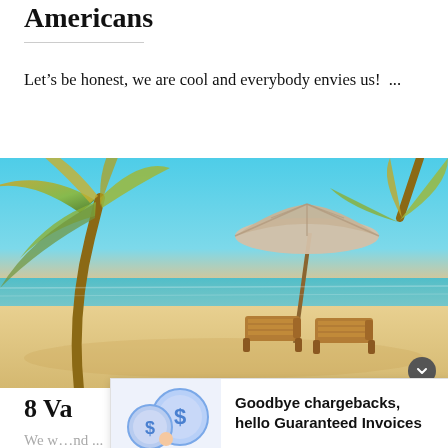Americans
Let’s be honest, we are cool and everybody envies us! ...
[Figure (photo): Tropical beach scene with palm trees, two wooden lounge chairs, and a large beach umbrella on white sand with turquoise water in the background at sunset.]
8 Va…
We w…nd ...
[Figure (illustration): Ad overlay: InstoBank advertisement showing a cartoon illustration of a person with large coins and a credit card. Text reads: Goodbye chargebacks, hello Guaranteed Invoices. InstoBank. Try for free.]